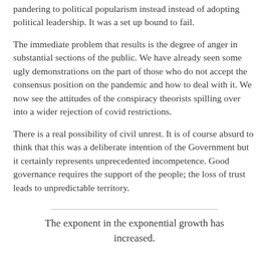pandering to political popularism instead instead of adopting political leadership. It was a set up bound to fail.
The immediate problem that results is the degree of anger in substantial sections of the public. We have already seen some ugly demonstrations on the part of those who do not accept the consensus position on the pandemic and how to deal with it. We now see the attitudes of the conspiracy theorists spilling over into a wider rejection of covid restrictions.
There is a real possibility of civil unrest. It is of course absurd to think that this was a deliberate intention of the Government but it certainly represents unprecedented incompetence. Good governance requires the support of the people; the loss of trust leads to unpredictable territory.
The exponent in the exponential growth has increased.